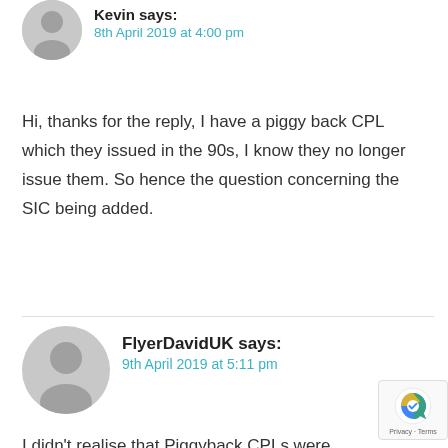Kevin says:
8th April 2019 at 4:00 pm
Hi, thanks for the reply, I have a piggy back CPL which they issued in the 90s, I know they no longer issue them. So hence the question concerning the SIC being added.
FlyerDavidUK says:
9th April 2019 at 5:11 pm
I didn’t realise that Piggyback CPLs were ever issued. Frankly I doubt you cou… add SIC today but best ask the FAA